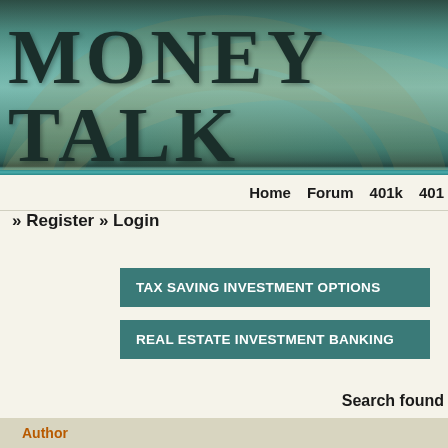[Figure (illustration): Money Talk website header banner with teal/green gradient background and coin watermark design]
MONEY TALK
Home   Forum   401k   401...
» Register » Login
TAX SAVING INVESTMENT OPTIONS
REAL ESTATE INVESTMENT BANKING
Search found
| Author |
| --- |